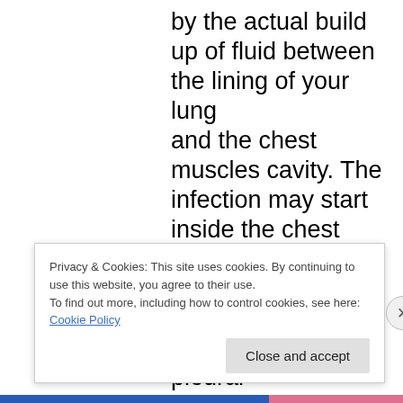by the actual build up of fluid between the lining of your lung and the chest muscles cavity. The infection may start inside the chest vicinity and get distributed to other body parts. Other symptoms of pleural mesothelioma cancer include weight-loss, severe respiration trouble, vomiting, difficulty eating, and infection of the neck and face areas. It ought to be noted some people having the disease do not experience
Privacy & Cookies: This site uses cookies. By continuing to use this website, you agree to their use.
To find out more, including how to control cookies, see here: Cookie Policy